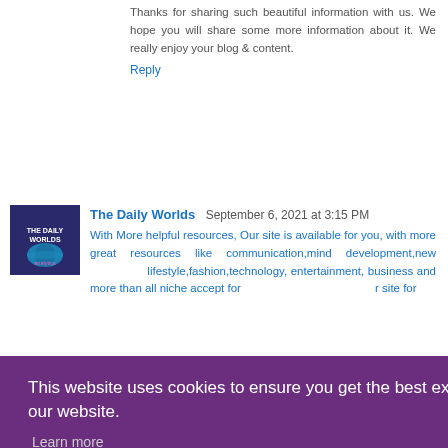Thanks for sharing such beautiful information with us. We hope you will share some more information about it. We really enjoy your blog & content.
Reply
The Daily Worlds  September 6, 2021 at 3:15 PM
With More helpful resources, Our site is available for you, with more great resources like communication,mind development,new lifestyle,fashion,technology, entertainment, business and more than all niche accept for r site for
This website uses cookies to ensure you get the best experience on our website.
Learn more
Got it!
Joan